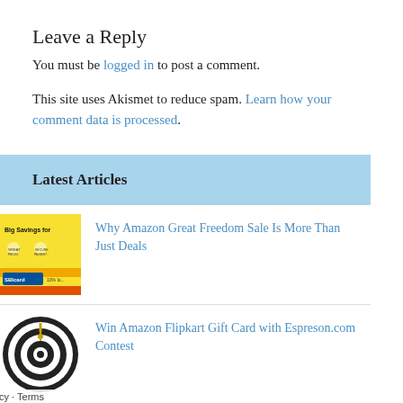Leave a Reply
You must be logged in to post a comment.
This site uses Akismet to reduce spam. Learn how your comment data is processed.
Latest Articles
Why Amazon Great Freedom Sale Is More Than Just Deals
Win Amazon Flipkart Gift Card with Espreson.com Contest
GitaQuest is a path to learning the Advantage of Gita
Privacy · Terms